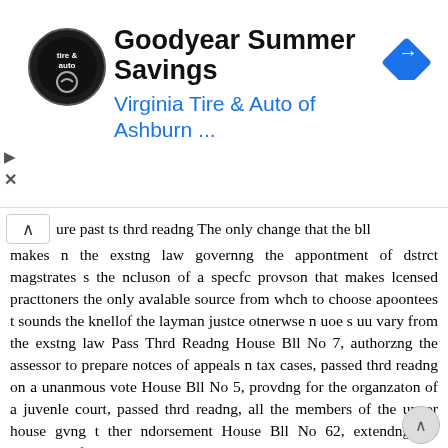[Figure (screenshot): Advertisement banner for Goodyear Summer Savings from Virginia Tire & Auto of Ashburn with logo and navigation arrow icon]
ure past ts thrd readng The only change that the bll makes n the exstng law governng the appontment of dstrct magstrates s the ncluson of a specfc provson that makes lcensed practtoners the only avalable source from whch to choose apoontees t sounds the knellof the layman justce otnerwse n uoe s uu vary from the exstng law Pass Thrd Readng House Bll No 7, authorzng the assessor to prepare notces of appeals n tax cases, passed thrd readng on a unanmous vote House Bll No 5, provdng for the organzaton of a juvenle court, passed thrd readng, all the members of the upper house gvng t ther ndorsement House Bll No 62, extendng the provsons of the ncorporaton law, passed thrd, readng, Senator Baker castng the only dssentng vote House Bll No 63, makng a jnry tral unnecessary unless one party to a sut formally asks for t, receved the unanmous ndorsement of the Senate House Bll No 8, repealng the secton of the Revsed